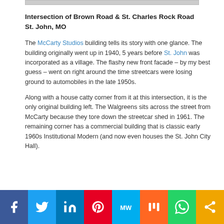[Figure (photo): Partial image visible at top of page as a thin bar]
Intersection of Brown Road & St. Charles Rock Road St. John, MO
The McCarty Studios building tells its story with one glance. The building originally went up in 1940, 5 years before St. John was incorporated as a village. The flashy new front facade – by my best guess – went on right around the time streetcars were losing ground to automobiles in the late 1950s.
Along with a house catty corner from it at this intersection, it is the only original building left. The Walgreens sits across the street from McCarty because they tore down the streetcar shed in 1961. The remaining corner has a commercial building that is classic early 1960s Institutional Modern (and now even houses the St. John City Hall).
Social share buttons: Facebook, Twitter, LinkedIn, Pinterest, MeWe, Mix, WhatsApp, Share